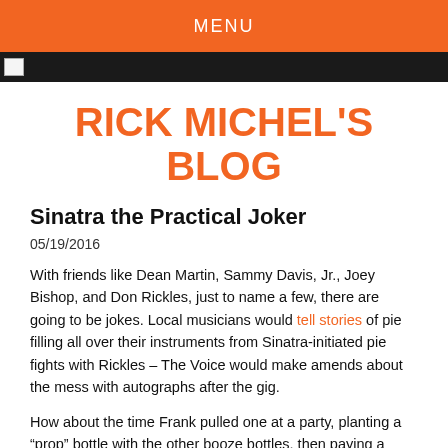MENU
RICK MICHEL'S BLOG
Sinatra the Practical Joker
05/19/2016
With friends like Dean Martin, Sammy Davis, Jr., Joey Bishop, and Don Rickles, just to name a few, there are going to be jokes. Local musicians would tell stories of pie filling all over their instruments from Sinatra-initiated pie fights with Rickles – The Voice would make amends about the mess with autographs after the gig.
How about the time Frank pulled one at a party, planting a “prop” bottle with the other booze bottles, then paying a bodyguard to get into a shouting match with him, and then smash Ol’ Blue Eyes